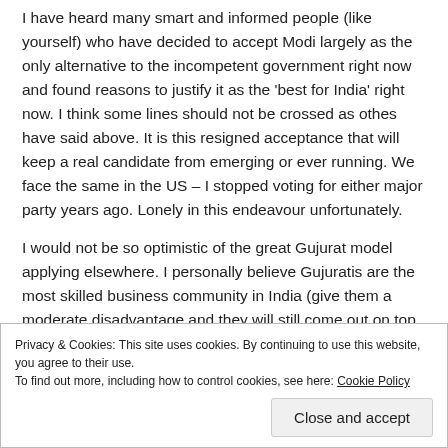I have heard many smart and informed people (like yourself) who have decided to accept Modi largely as the only alternative to the incompetent government right now and found reasons to justify it as the 'best for India' right now. I think some lines should not be crossed as othes have said above. It is this resigned acceptance that will keep a real candidate from emerging or ever running. We face the same in the US – I stopped voting for either major party years ago. Lonely in this endeavour unfortunately.
I would not be so optimistic of the great Gujurat model applying elsewhere. I personally believe Gujuratis are the most skilled business community in India (give them a moderate disadvantage and they will still come out on top making money!). Give them a few advantages like Modi did and there is no chance of failure.
Privacy & Cookies: This site uses cookies. By continuing to use this website, you agree to their use.
To find out more, including how to control cookies, see here: Cookie Policy
Close and accept